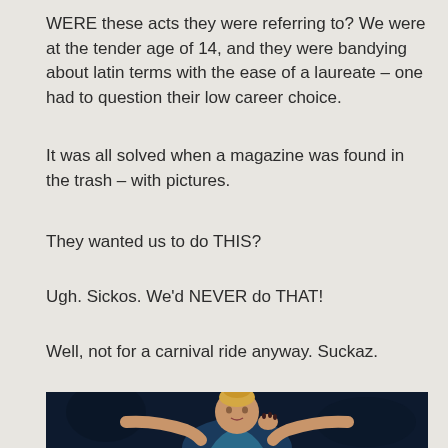WERE these acts they were referring to? We were at the tender age of 14, and they were bandying about latin terms with the ease of a laureate – one had to question their low career choice.
It was all solved when a magazine was found in the trash – with pictures.
They wanted us to do THIS?
Ugh. Sickos. We'd NEVER do THAT!
Well, not for a carnival ride anyway. Suckaz.
[Figure (illustration): A 3D rendered female avatar with blonde hair pulled up, wearing a dark blue/teal outfit, shown from the torso up with arms spread out, against a dark navy background.]